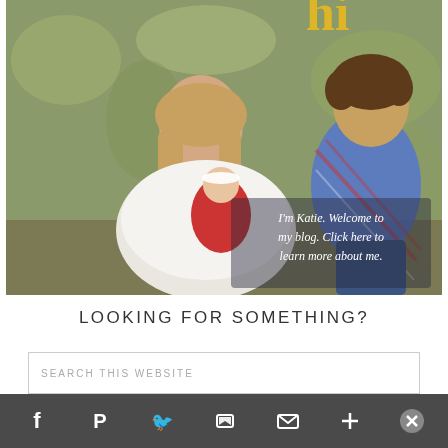[Figure (photo): A woman (Katie) holding a baby in red, with a toddler in a plaid shirt leaning in. Outdoor fall setting. Text overlay reads: I'm Katie. Welcome to my blog. Click here to learn more about me. Gold 'hi' text partially visible at top right.]
LOOKING FOR SOMETHING?
SEARCH THIS WEBSITE
[Figure (infographic): Bottom social share bar with Facebook, Pinterest, Twitter, Google+, Email, and Plus icons on dark grey background. Close (X) button at right.]